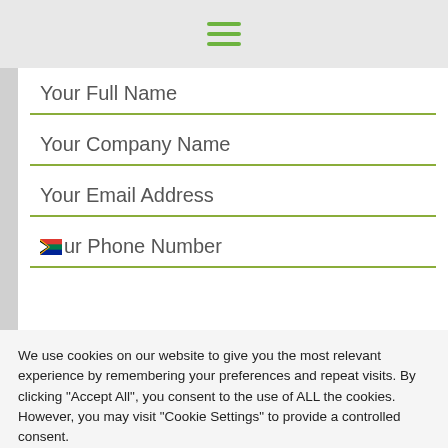[Figure (other): Hamburger menu icon with three green horizontal lines]
Your Full Name
Your Company Name
Your Email Address
Your Phone Number
We use cookies on our website to give you the most relevant experience by remembering your preferences and repeat visits. By clicking "Accept All", you consent to the use of ALL the cookies. However, you may visit "Cookie Settings" to provide a controlled consent.
Cookie Settings
Accept All